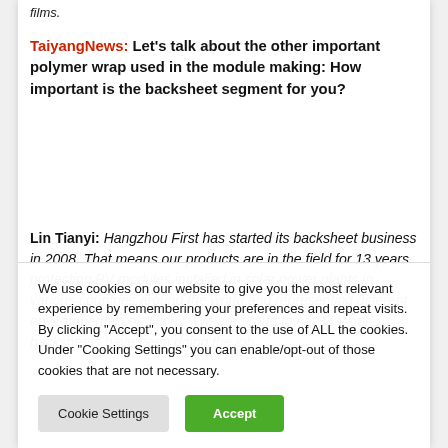films.
TaiyangNews: Let's talk about the other important polymer wrap used in the module making: How important is the backsheet segment for you?
Lin Tianyi: Hangzhou First has started its backsheet business in 2008. That means our products are in the field for 13 years protecting PV modules installed in solar power plants in various countries around the world and representing different environmental conditions. We are proud to say that our backsheets have been doing the job...
We use cookies on our website to give you the most relevant experience by remembering your preferences and repeat visits. By clicking "Accept", you consent to the use of ALL the cookies. Under "Cooking Settings" you can enable/opt-out of those cookies that are not necessary.